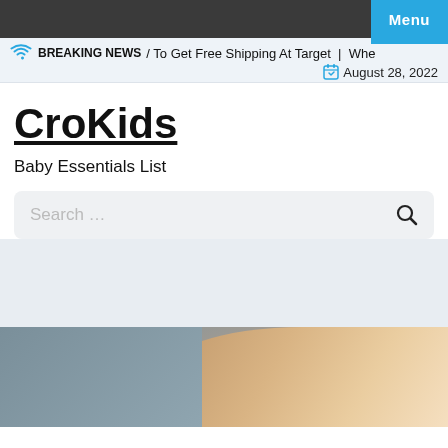Menu
BREAKING NEWS / To Get Free Shipping At Target | Whe
August 28, 2022
CroKids
Baby Essentials List
Search …
[Figure (photo): Close-up photo of a hand or finger against a blurred background, partial view at the bottom of the page]